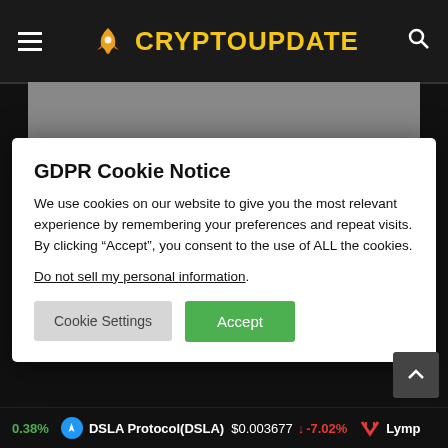CRYPTOUPDATE
[Figure (screenshot): Gray placeholder image area behind modal dialog]
GDPR Cookie Notice
We use cookies on our website to give you the most relevant experience by remembering your preferences and repeat visits. By clicking “Accept”, you consent to the use of ALL the cookies.
Do not sell my personal information.
Cookie Settings   Accept
0.38%   DSLA Protocol(DSLA) $0.003677 -7.02%   Lymp